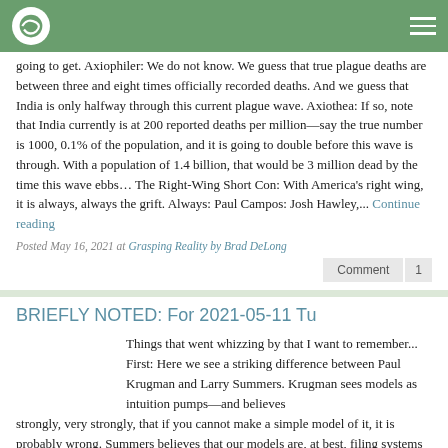Navigation bar with logo and menu
going to get. Axiophiler: We do not know. We guess that true plague deaths are between three and eight times officially recorded deaths. And we guess that India is only halfway through this current plague wave. Axiothea: If so, note that India currently is at 200 reported deaths per million—say the true number is 1000, 0.1% of the population, and it is going to double before this wave is through. With a population of 1.4 billion, that would be 3 million dead by the time this wave ebbs… The Right-Wing Short Con: With America's right wing, it is always, always the grift. Always: Paul Campos: Josh Hawley,... Continue reading
Posted May 16, 2021 at Grasping Reality by Brad DeLong
Comment 1
BRIEFLY NOTED: For 2021-05-11 Tu
Things that went whizzing by that I want to remember... First: Here we see a striking difference between Paul Krugman and Larry Summers. Krugman sees models as intuition pumps—and believes strongly, very strongly, that if you cannot make a simple model of it, it is probably wrong. Summers believes that our models are, at best, filing systems (and at worst tools for misleading the unwary)—and that the right way to think about the economy is as, in some way, a two-state system, with expansion being one state and recession the other, so that you cannot bolt an expansion